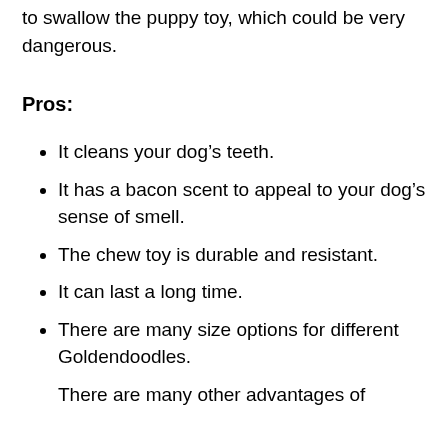to swallow the puppy toy, which could be very dangerous.
Pros:
It cleans your dog’s teeth.
It has a bacon scent to appeal to your dog’s sense of smell.
The chew toy is durable and resistant.
It can last a long time.
There are many size options for different Goldendoodles.
There are many other advantages of...